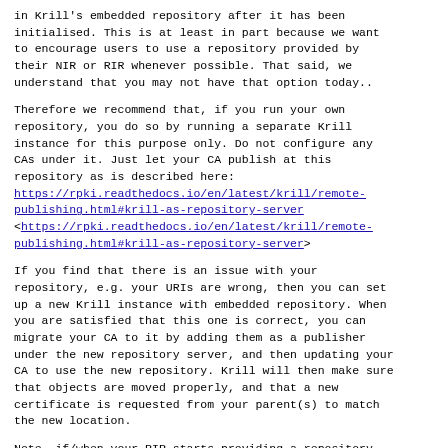in Krill's embedded repository after it has been initialised. This is at least in part because we want to encourage users to use a repository provided by their NIR or RIR whenever possible. That said, we understand that you may not have that option today..
Therefore we recommend that, if you run your own repository, you do so by running a separate Krill instance for this purpose only. Do not configure any CAs under it. Just let your CA publish at this repository as is described here: https://rpki.readthedocs.io/en/latest/krill/remote-publishing.html#krill-as-repository-server <https://rpki.readthedocs.io/en/latest/krill/remote-publishing.html#krill-as-repository-server>
If you find that there is an issue with your repository, e.g. your URIs are wrong, then you can set up a new Krill instance with embedded repository. When you are satisfied that this one is correct, you can migrate your CA to it by adding them as a publisher under the new repository server, and then updating your CA to use the new repository. Krill will then make sure that objects are moved properly, and that a new certificate is requested from your parent(s) to match the new location.
Note, if/when your RIR starts providing a repository service you can also update your CA to start publishing there.